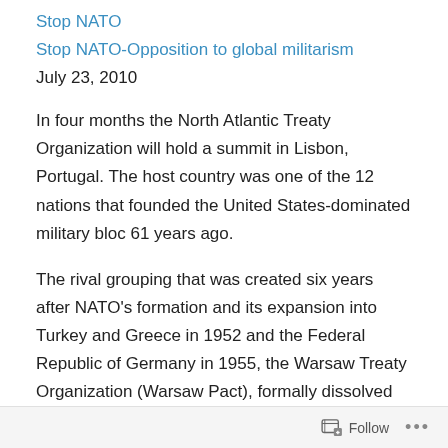Stop NATO
Stop NATO-Opposition to global militarism
July 23, 2010
In four months the North Atlantic Treaty Organization will hold a summit in Lisbon, Portugal. The host country was one of the 12 nations that founded the United States-dominated military bloc 61 years ago.
The rival grouping that was created six years after NATO’s formation and its expansion into Turkey and Greece in 1952 and the Federal Republic of Germany in 1955, the Warsaw Treaty Organization (Warsaw Pact), formally dissolved itself almost twenty years ago. In the interim NATO, having grown to 16 members by 1982 with the incorporation of Spain, expanded from an original 12 to 28
Follow •••